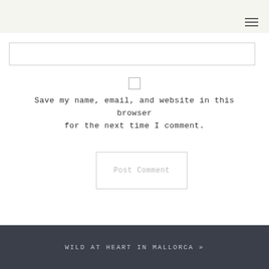[Figure (other): Hamburger/menu icon with three horizontal lines in top-right corner]
[Figure (other): Text input field (website URL box), empty, with light border]
[Figure (other): Checkbox, unchecked, centered on page]
Save my name, email, and website in this browser for the next time I comment.
[Figure (other): Post Comment button, outlined with light border, light gray text]
WILD AT HEART IN MALLORCA »